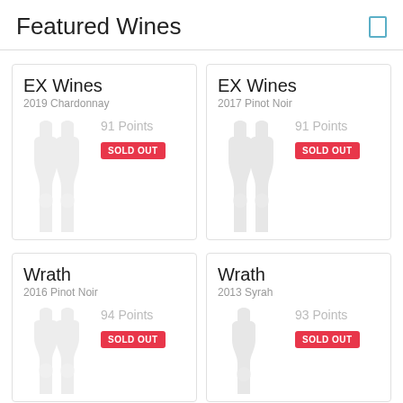Featured Wines
EX Wines
2019 Chardonnay
91 Points
SOLD OUT
EX Wines
2017 Pinot Noir
91 Points
SOLD OUT
Wrath
2016 Pinot Noir
94 Points
SOLD OUT
Wrath
2013 Syrah
93 Points
SOLD OUT